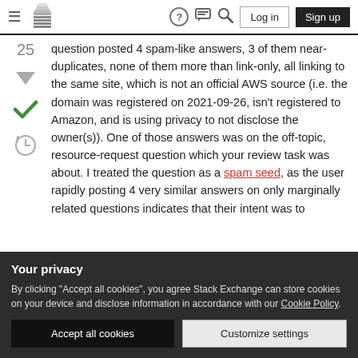Stack Exchange navigation bar with hamburger menu, logo, help, chat, search, Log in and Sign up buttons
question posted 4 spam-like answers, 3 of them near-duplicates, none of them more than link-only, all linking to the same site, which is not an official AWS source (i.e. the domain was registered on 2021-09-26, isn't registered to Amazon, and is using privacy to not disclose the owner(s)). One of those answers was on the off-topic, resource-request question which your review task was about. I treated the question as a spam seed, as the user rapidly posting 4 very similar answers on only marginally related questions indicates that their intent was to
Your privacy
By clicking "Accept all cookies", you agree Stack Exchange can store cookies on your device and disclose information in accordance with our Cookie Policy.
Accept all cookies   Customize settings
re-deleted as rude/abusive, which prevents it from